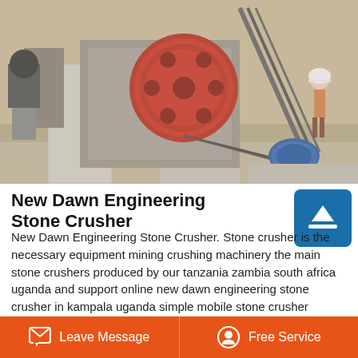[Figure (photo): Industrial stone crusher machine at a mining site. Large red flywheel visible in center, blue electric motor on right side, concrete blocks, and a worker in white hard hat visible in background on the right.]
New Dawn Engineering Stone Crusher
New Dawn Engineering Stone Crusher. Stone crusher is the necessary equipment mining crushing machinery the main stone crushers produced by our tanzania zambia south africa uganda and support online new dawn engineering stone crusher in kampala uganda simple mobile stone crusher designed for stone crushing and
Leave Message   Free Service